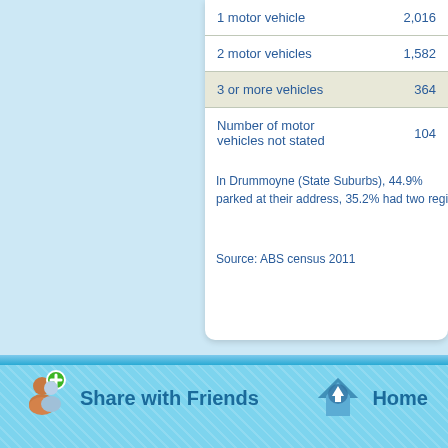| Category | Value |
| --- | --- |
| 1 motor vehicle | 2,016 |
| 2 motor vehicles | 1,582 |
| 3 or more vehicles | 364 |
| Number of motor vehicles not stated | 104 |
In Drummoyne (State Suburbs), 44.9% parked at their address, 35.2% had two regi
Source: ABS census 2011
[Figure (illustration): Share with Friends icon - person with green plus symbol]
Share with Friends
[Figure (illustration): Home icon - house with blue arrow]
Home